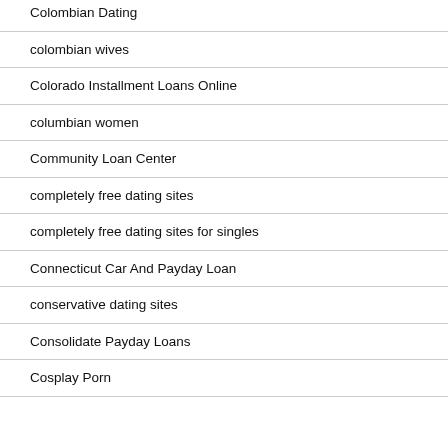Colombian Dating
colombian wives
Colorado Installment Loans Online
columbian women
Community Loan Center
completely free dating sites
completely free dating sites for singles
Connecticut Car And Payday Loan
conservative dating sites
Consolidate Payday Loans
Cosplay Porn